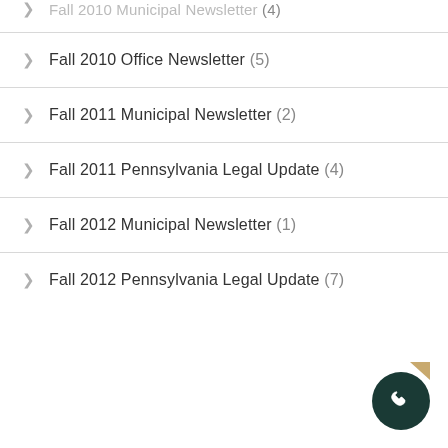Fall 2010 Municipal Newsletter (4)
Fall 2010 Office Newsletter (5)
Fall 2011 Municipal Newsletter (2)
Fall 2011 Pennsylvania Legal Update (4)
Fall 2012 Municipal Newsletter (1)
Fall 2012 Pennsylvania Legal Update (7)